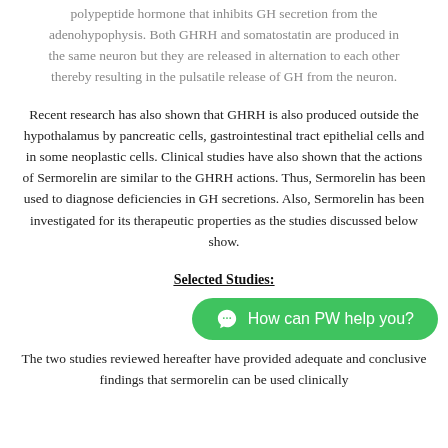polypeptide hormone that inhibits GH secretion from the adenohypophysis. Both GHRH and somatostatin are produced in the same neuron but they are released in alternation to each other thereby resulting in the pulsatile release of GH from the neuron.
Recent research has also shown that GHRH is also produced outside the hypothalamus by pancreatic cells, gastrointestinal tract epithelial cells and in some neoplastic cells. Clinical studies have also shown that the actions of Sermorelin are similar to the GHRH actions. Thus, Sermorelin has been used to diagnose deficiencies in GH secretions. Also, Sermorelin has been investigated for its therapeutic properties as the studies discussed below show.
Selected Studies:
The two studies reviewed hereafter have provided adequate and conclusive findings that sermorelin can be used clinically